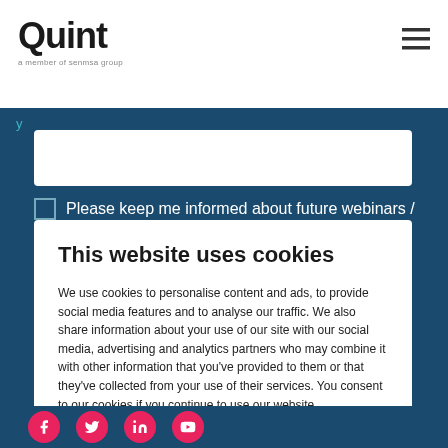Quint — a member of senmsa group
Please keep me informed about future webinars /
This website uses cookies

We use cookies to personalise content and ads, to provide social media features and to analyse our traffic. We also share information about your use of our site with our social media, advertising and analytics partners who may combine it with other information that you've provided to them or that they've collected from your use of their services. You consent to our cookies if you continue to use our website.

OK    Show details